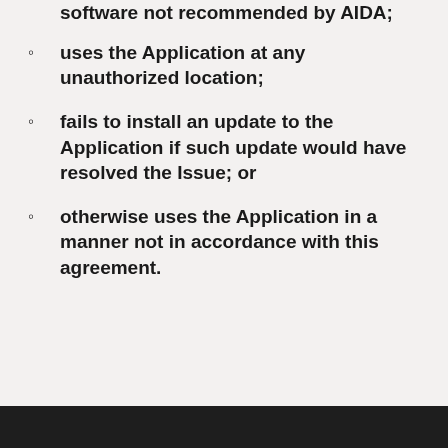software not recommended by AIDA;
uses the Application at any unauthorized location;
fails to install an update to the Application if such update would have resolved the Issue; or
otherwise uses the Application in a manner not in accordance with this agreement.